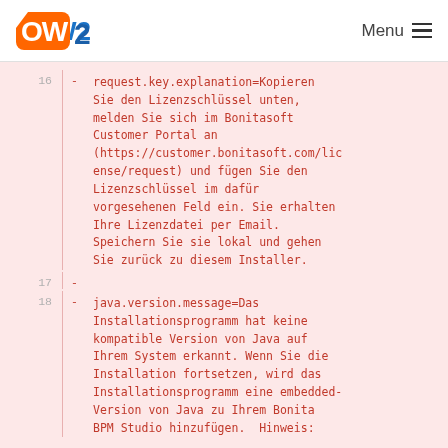OW2 Menu
16  - request.key.explanation=Kopieren Sie den Lizenzschlüssel unten, melden Sie sich im Bonitasoft Customer Portal an (https://customer.bonitasoft.com/license/request) und fügen Sie den Lizenzschlüssel im dafür vorgesehenen Feld ein. Sie erhalten Ihre Lizenzdatei per Email. Speichern Sie sie lokal und gehen Sie zurück zu diesem Installer.
17  -
18  - java.version.message=Das Installationsprogramm hat keine kompatible Version von Java auf Ihrem System erkannt. Wenn Sie die Installation fortsetzen, wird das Installationsprogramm eine embedded-Version von Java zu Ihrem Bonita BPM Studio hinzufügen.  Hinweis: